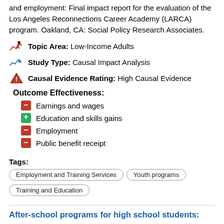and employment: Final impact report for the evaluation of the Los Angeles Reconnections Career Academy (LARCA) program. Oakland, CA: Social Policy Research Associates.
Topic Area: Low-Income Adults
Study Type: Causal Impact Analysis
Causal Evidence Rating: High Causal Evidence
Outcome Effectiveness:
Earnings and wages
Education and skills gains
Employment
Public benefit receipt
Tags: Employment and Training Services   Youth programs   Training and Education
After-school programs for high school students: